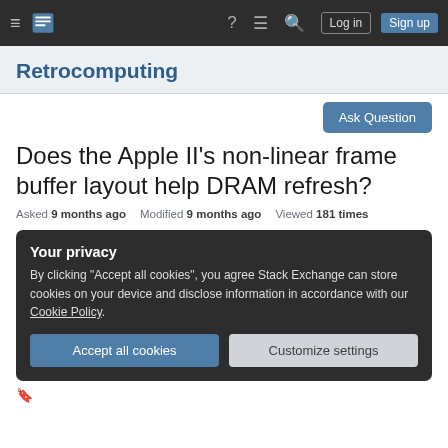Retrocomputing Stack Exchange navigation bar with Log in and Sign up buttons
Retrocomputing
Ask Question
Does the Apple II's non-linear frame buffer layout help DRAM refresh?
Asked 9 months ago   Modified 9 months ago   Viewed 181 times
Your privacy
By clicking "Accept all cookies", you agree Stack Exchange can store cookies on your device and disclose information in accordance with our Cookie Policy.
Accept all cookies   Customize settings